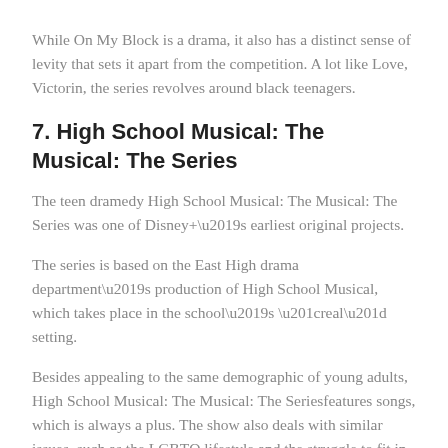While On My Block is a drama, it also has a distinct sense of levity that sets it apart from the competition. A lot like Love, Victorin, the series revolves around black teenagers.
7. High School Musical: The Musical: The Series
The teen dramedy High School Musical: The Musical: The Series was one of Disney+'s earliest original projects.
The series is based on the East High drama department's production of High School Musical, which takes place in the school's “real” setting.
Besides appealing to the same demographic of young adults, High School Musical: The Musical: The Seriesfeatures songs, which is always a plus. The show also deals with similar issues, such as the LGBTQ lifestyle and the struggle to fit in with the rest of society.